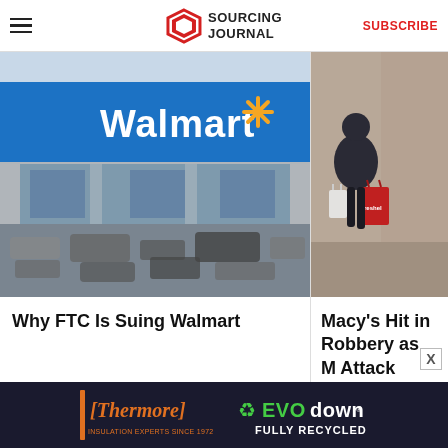Sourcing Journal — SUBSCRIBE
[Figure (photo): Walmart store exterior with blue sign and parking lot full of cars]
Why FTC Is Suing Walmart
[Figure (photo): Person walking on street carrying white and red shopping bags past brick building]
Macy's Hit in Robbery as M Attack
[Figure (photo): Close-up of stacked shopping carts with hexagonal mesh pattern]
[Figure (photo): Thermore and EVO down advertisement banner — Insulation Experts Since 1972, Fully Recycled]